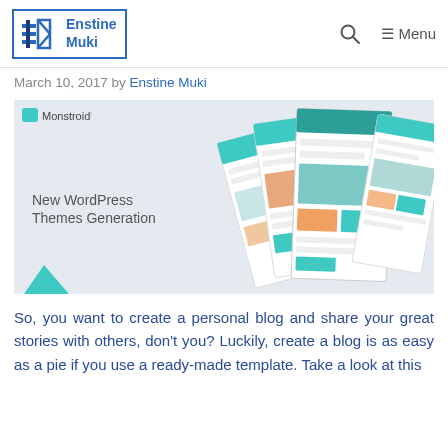Enstine Muki [logo] | Search | Menu
March 10, 2017 by Enstine Muki
[Figure (screenshot): Monstroid WordPress themes promotional image showing 'New WordPress Themes Generation' with multiple overlapping website template mockups in teal/mint and white color scheme]
So, you want to create a personal blog and share your great stories with others, don't you? Luckily, create a blog is as easy as a pie if you use a ready-made template. Take a look at this